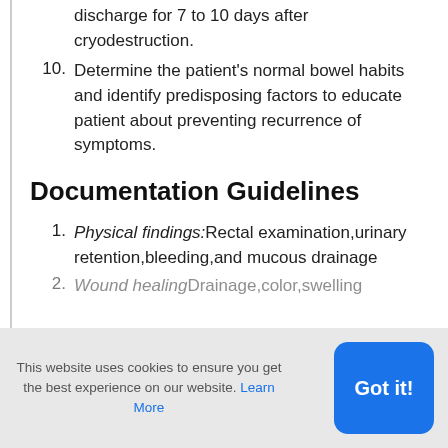discharge for 7 to 10 days after cryodestruction.
10. Determine the patient's normal bowel habits and identify predisposing factors to educate patient about preventing recurrence of symptoms.
Documentation Guidelines
1. Physical findings:Rectal examination,urinary retention,bleeding,and mucous drainage
2. Wound healingDrainage,color,swelling (partially visible)
This website uses cookies to ensure you get the best experience on our website. Learn More
Got it!